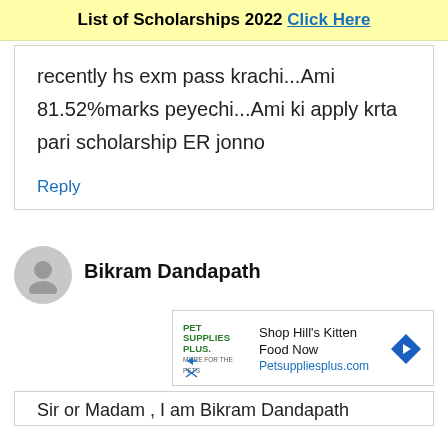List of Scholarships 2022 Click Here
recently hs exm pass krachi...Ami 81.52%marks peyechi...Ami ki apply krta pari scholarship ER jonno
Reply
Bikram Dandapath
[Figure (other): Advertisement for Pet Supplies Plus: Shop Hill's Kitten Food Now, Petsuppliesplus.com]
Sir or Madam , I am Bikram Dandapath